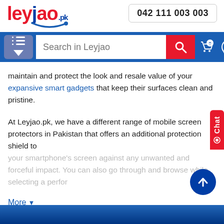[Figure (logo): Leyjao.pk logo with red and blue text and a smile arc underneath]
042 111 003 003
[Figure (screenshot): Navigation bar with hamburger/filter menu button, search box reading 'Search in Leyjao', red search button with magnifier icon, cart icon with 0 badge, and user account icon]
maintain and protect the look and resale value of your expansive smart gadgets that keep their surfaces clean and pristine.
At Leyjao.pk, we have a different range of mobile screen protectors in Pakistan that offers an additional protection shield to your smartphone's screen against any unwanted and forceful impact. You can also go through and browse while selecting a perfor
More